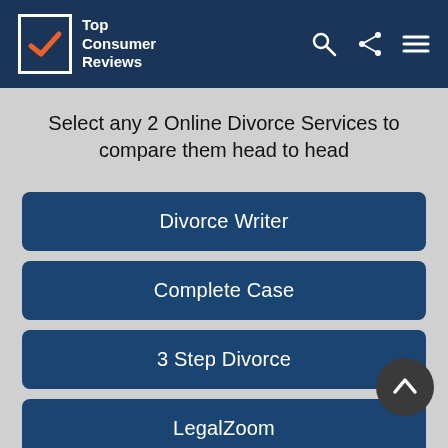Top Consumer Reviews
Select any 2 Online Divorce Services to compare them head to head
Divorce Writer
Complete Case
3 Step Divorce
LegalZoom
Rocket Lawyer